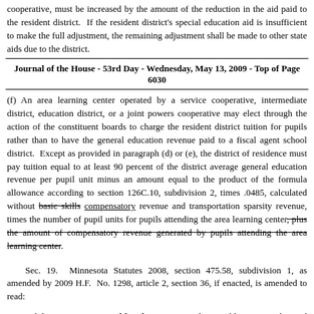cooperative, must be increased by the amount of the reduction in the aid paid to the resident district. If the resident district's special education aid is insufficient to make the full adjustment, the remaining adjustment shall be made to other state aids due to the district.
Journal of the House - 53rd Day - Wednesday, May 13, 2009 - Top of Page 6030
(f) An area learning center operated by a service cooperative, intermediate district, education district, or a joint powers cooperative may elect through the action of the constituent boards to charge the resident district tuition for pupils rather than to have the general education revenue paid to a fiscal agent school district. Except as provided in paragraph (d) or (e), the district of residence must pay tuition equal to at least 90 percent of the district average general education revenue per pupil unit minus an amount equal to the product of the formula allowance according to section 126C.10, subdivision 2, times .0485, calculated without [basic skills] compensatory revenue and transportation sparsity revenue, times the number of pupil units for pupils attending the area learning center, plus the amount of compensatory revenue generated by pupils attending the area learning center.
Sec. 19. Minnesota Statutes 2008, section 475.58, subdivision 1, as amended by 2009 H.F. No. 1298, article 2, section 36, if enacted, is amended to read:
Subdivision 1. Approval by electors; exceptions. Obligations authorized by law or charter may be issued by any municipality upon obtaining the approval of a majority of the electors voting on the question of issuing the